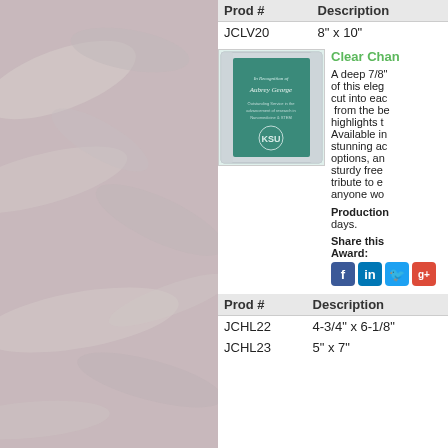[Figure (photo): Left column with marble/stone texture background in pinkish-grey tones]
| Prod # | Description |
| --- | --- |
| JCLV20 | 8" x 10" |
[Figure (photo): Clear channel acrylic award plaque with green interior, standing upright]
Clear Chan
A deep 7/8" of this eleg cut into eac from the be highlights t Available in stunning ac options, an sturdy free tribute to e anyone wo
Production days.
Share this Award:
[Figure (other): Social media icons: Facebook, LinkedIn, Twitter, Google+]
| Prod # | Description |
| --- | --- |
| JCHL22 | 4-3/4" x 6-1/8" |
| JCHL23 | 5" x 7" |